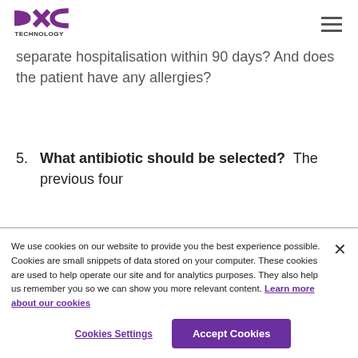DXC Technology
separate hospitalisation within 90 days? And does the patient have any allergies?
5. What antibiotic should be selected? The previous four
We use cookies on our website to provide you the best experience possible. Cookies are small snippets of data stored on your computer. These cookies are used to help operate our site and for analytics purposes. They also help us remember you so we can show you more relevant content. Learn more about our cookies